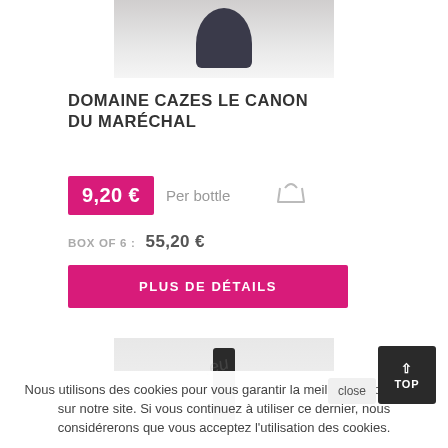[Figure (photo): Top of a wine bottle with dark capsule against a light grey background]
DOMAINE CAZES LE CANON DU MARÉCHAL
9,20 €  Per bottle
BOX OF 6 :   55,20 €
PLUS DE DÉTAILS
[Figure (photo): Top neck portion of a wine bottle with black capsule on light grey background, with watermark]
Nous utilisons des cookies pour vous garantir la meilleure expérience sur notre site. Si vous continuez à utiliser ce dernier, nous considérerons que vous acceptez l'utilisation des cookies.